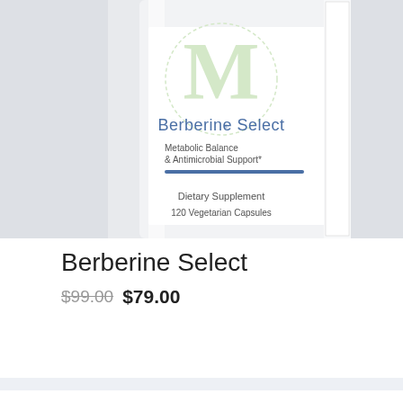[Figure (photo): Close-up photo of a white supplement bottle labeled 'Berberine Select', showing text: Metabolic Balance & Antimicrobial Support*, Dietary Supplement, 120 Vegetarian Capsules]
Berberine Select
$99.00 $79.00
[Figure (photo): Bottom portion of a second white supplement bottle, partially cropped, with a black 'Sale!' badge in the lower right corner]